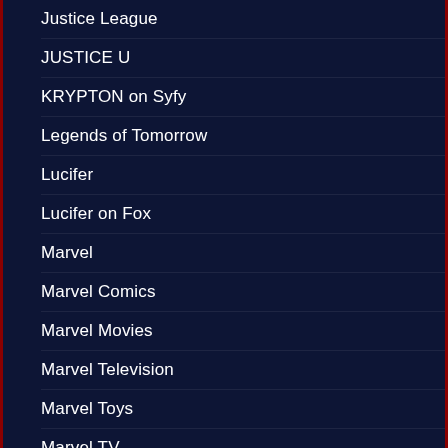Justice League
JUSTICE U
KRYPTON on Syfy
Legends of Tomorrow
Lucifer
Lucifer on Fox
Marvel
Marvel Comics
Marvel Movies
Marvel Television
Marvel Toys
Marvel TV
Mortal Combat
Movie Reviews
New York Comic Con 2017
NYCC 2019